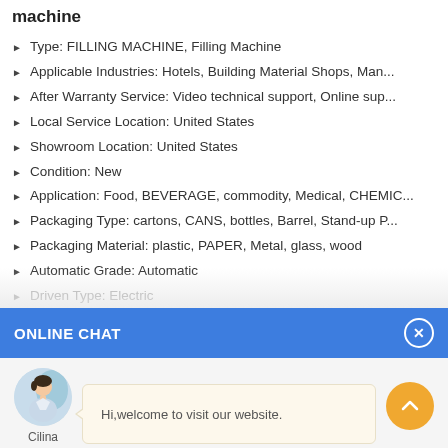machine
Type: FILLING MACHINE, Filling Machine
Applicable Industries: Hotels, Building Material Shops, Man...
After Warranty Service: Video technical support, Online sup...
Local Service Location: United States
Showroom Location: United States
Condition: New
Application: Food, BEVERAGE, commodity, Medical, CHEMIC...
Packaging Type: cartons, CANS, bottles, Barrel, Stand-up P...
Packaging Material: plastic, PAPER, Metal, glass, wood
Automatic Grade: Automatic
Driven Type: Electric
ONLINE CHAT
[Figure (photo): Avatar of chat agent named Cilina]
Hi,welcome to visit our website.
Cilina